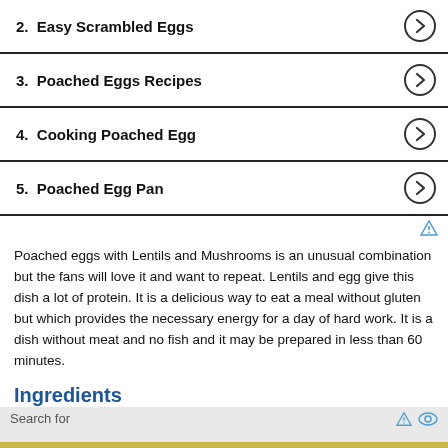2.  Easy Scrambled Eggs
3.  Poached Eggs Recipes
4.  Cooking Poached Egg
5.  Poached Egg Pan
Poached eggs with Lentils and Mushrooms is an unusual combination but the fans will love it and want to repeat. Lentils and egg give this dish a lot of protein. It is a delicious way to eat a meal without gluten but which provides the necessary energy for a day of hard work. It is a dish without meat and no fish and it may be prepared in less than 60 minutes.
Ingredients
Search for
1.  Microwave Poached Eggs